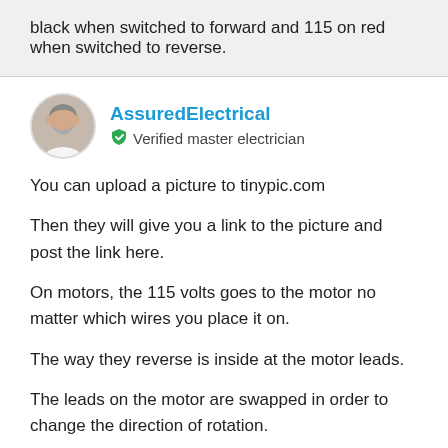black when switched to forward and 115 on red when switched to reverse.
[Figure (photo): Avatar photo of AssuredElectrical, a person in a white shirt with beard]
AssuredElectrical
Verified master electrician
You can upload a picture to tinypic.com
Then they will give you a link to the picture and post the link here.
On motors, the 115 volts goes to the motor no matter which wires you place it on.
The way they reverse is inside at the motor leads.
The leads on the motor are swapped in order to change the direction of rotation.